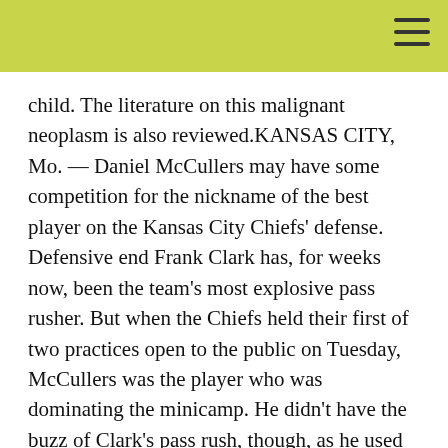child. The literature on this malignant neoplasm is also reviewed.KANSAS CITY, Mo. — Daniel McCullers may have some competition for the nickname of the best player on the Kansas City Chiefs' defense. Defensive end Frank Clark has, for weeks now, been the team's most explosive pass rusher. But when the Chiefs held their first of two practices open to the public on Tuesday, McCullers was the player who was dominating the minicamp. He didn't have the buzz of Clark's pass rush, though, as he used one of his first two pass-rushing snaps in camp to get his hands on Philip Rivers' pass and strip it out of the quarterback's hands. McCullers had a hold of the ball, which fell to the ground as he dove toward the sideline. But as the game would have it, McCullers' effort was for naught as Chiefs coach Andy Reid punted the ball away from the Chargers at their 29-yard line. McCullers